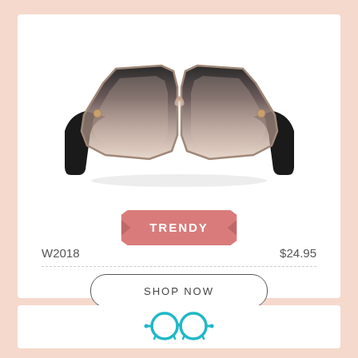[Figure (illustration): Large oversized square/hexagonal eyeglasses frames with black-to-clear gradient top and pink/nude transparent lower frames, shown from front view on white background]
TRENDY
W2018
$24.95
SHOP NOW
[Figure (logo): Simple round eyeglasses icon in teal/turquoise outline style]